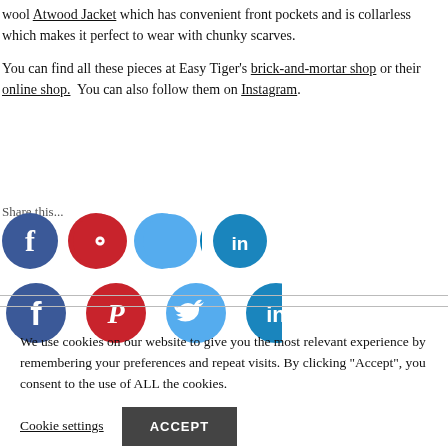wool Atwood Jacket which has convenient front pockets and is collarless which makes it perfect to wear with chunky scarves.

You can find all these pieces at Easy Tiger's brick-and-mortar shop or their online shop.  You can also follow them on Instagram.
Share this...
[Figure (infographic): Four social media share buttons: Facebook (dark blue circle with 'f'), Pinterest (red circle with 'P'), Twitter (light blue circle with bird icon), LinkedIn (dark blue circle with 'in')]
We use cookies on our website to give you the most relevant experience by remembering your preferences and repeat visits. By clicking "Accept", you consent to the use of ALL the cookies.
Cookie settings   ACCEPT